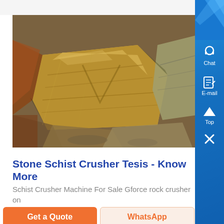[Figure (photo): Close-up photograph of schist rock/stone pieces with layered, flaky golden-brown mineral texture, appears to be ore or crushed stone material.]
Stone Schist Crusher Tesis - Know More
Schist Crusher Machine For Sale Gforce rock crusher on
Get a Quote
WhatsApp